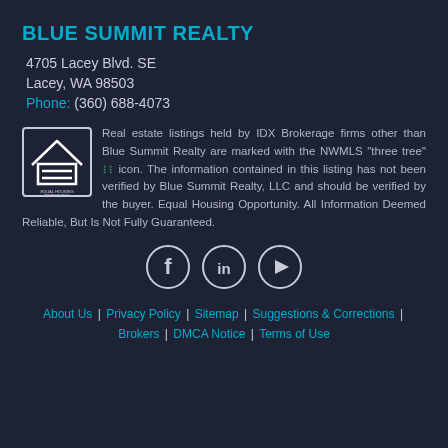BLUE SUMMIT REALTY
4705 Lacey Blvd. SE
Lacey, WA 98503
Phone: (360) 688-4073
Real estate listings held by IDX Brokerage firms other than Blue Summit Realty are marked with the NWMLS "three tree" icon. The information contained in this listing has not been verified by Blue Summit Realty, LLC and should be verified by the buyer. Equal Housing Opportunity. All Information Deemed Reliable, But Is Not Fully Guaranteed.
[Figure (infographic): Social media icons: Facebook, LinkedIn, YouTube in circular outlines]
About Us | Privacy Policy | Sitemap | Suggestions & Corrections | Brokers | DMCA Notice | Terms of Use